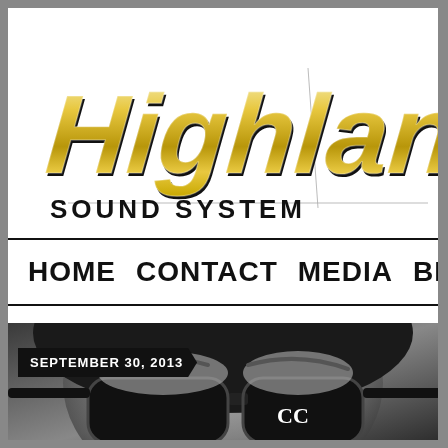[Figure (logo): Highlanda Sound System logo in gold and black italic lettering with decorative lines]
HOME   CONTACT   MEDIA   BI...
[Figure (photo): Black and white close-up photo of a person wearing large Chanel sunglasses with date badge 'SEPTEMBER 30, 2013']
SEPTEMBER 30, 2013